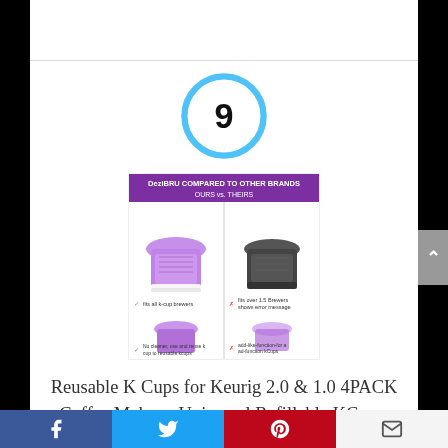[Figure (other): Number 9 in a blue circle, indicating ranking/score]
[Figure (photo): Product comparison image showing DeziBRU reusable K-cups compared to other brands. Shows 'OURS vs. THEIRS' with purple reusable k-cups on the left and black/purple competing cups on the right.]
Reusable K Cups for Keurig 2.0 & 1.0 4PACK Coffee Makers. Universal Refillable KCups, Keurig filter, Reusable kcup, k cup k-cups